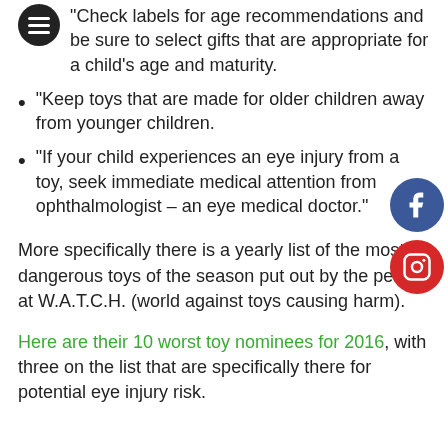“Check labels for age recommendations and be sure to select gifts that are appropriate for a child’s age and maturity.
“Keep toys that are made for older children away from younger children.
“If your child experiences an eye injury from a toy, seek immediate medical attention from ophthalmologist – an eye medical doctor.”
More specifically there is a yearly list of the most dangerous toys of the season put out by the people at W.A.T.C.H. (world against toys causing harm).
Here are their 10 worst toy nominees for 2016, with three on the list that are specifically there for potential eye injury risk.